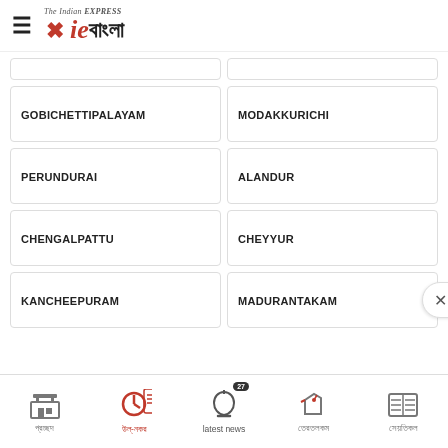IE Bangla - The Indian Express
GOBICHETTIPALAYAM
MODAKKURICHI
PERUNDURAI
ALANDUR
CHENGALPATTU
CHEYYUR
KANCHEEPURAM
MADURANTAKAM
Home | உள்-நகர் | latest news 27 | தேர்தலகம் | செய்திகள்